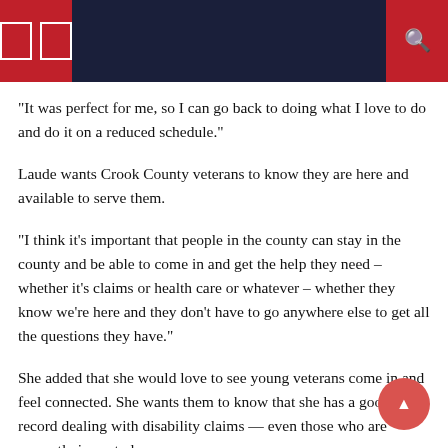“It was perfect for me, so I can go back to doing what I love to do and do it on a reduced schedule.”
Laude wants Crook County veterans to know they are here and available to serve them.
“I think it’s important that people in the county can stay in the county and be able to come in and get the help they need – whether it’s claims or health care or whatever – whether they know we’re here and they don’t have to go anywhere else to get all the questions they have.”
She added that she would love to see young veterans come in and feel connected. She wants them to know that she has a good track record dealing with disability claims — even those who are currently in custody or reserves.